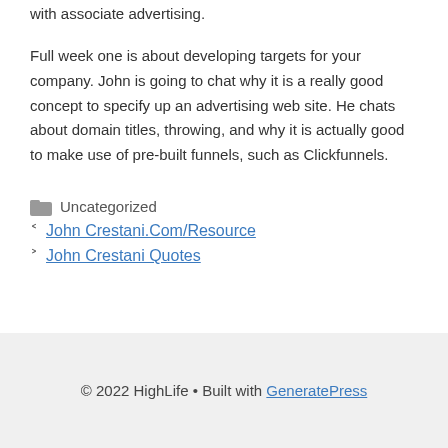with associate advertising.
Full week one is about developing targets for your company. John is going to chat why it is a really good concept to specify up an advertising web site. He chats about domain titles, throwing, and why it is actually good to make use of pre-built funnels, such as Clickfunnels.
Uncategorized
John Crestani.Com/Resource
John Crestani Quotes
© 2022 HighLife • Built with GeneratePress